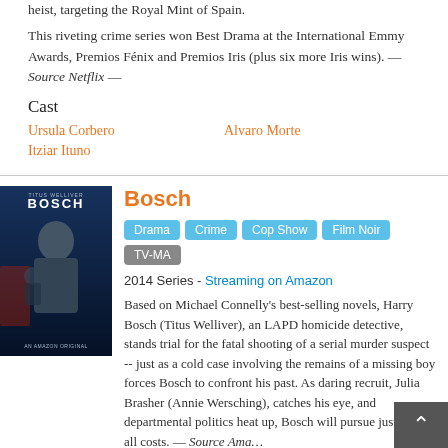heist, targeting the Royal Mint of Spain.
This riveting crime series won Best Drama at the International Emmy Awards, Premios Fénix and Premios Iris (plus six more Iris wins). — Source Netflix —
Cast
Ursula Corbero
Alvaro Morte
Itziar Ituno
[Figure (photo): Bosch TV show poster featuring Titus Welliver as Harry Bosch]
Bosch
Drama  Crime  Cop Show  Film Noir  TV-MA
2014 Series - Streaming on Amazon
Based on Michael Connelly's best-selling novels, Harry Bosch (Titus Welliver), an LAPD homicide detective, stands trial for the fatal shooting of a serial murder suspect -- just as a cold case involving the remains of a missing boy forces Bosch to confront his past. As daring recruit, Julia Brasher (Annie Wersching), catches his eye, and departmental politics heat up, Bosch will pursue justice at all costs. — Source Ama…